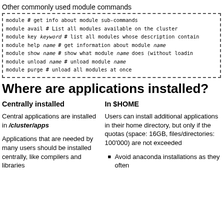Other commonly used module commands
[Figure (screenshot): Dashed-border code box listing module commands with inline comments]
Where are applications installed?
Centrally installed
In $HOME
Central applications are installed in /cluster/apps
Applications that are needed by many users should be installed centrally, like compilers and libraries
Users can install additional applications in their home directory, but only if the quotas (space: 16GB, files/directories: 100'000) are not exceeded
Avoid anaconda installations as they often